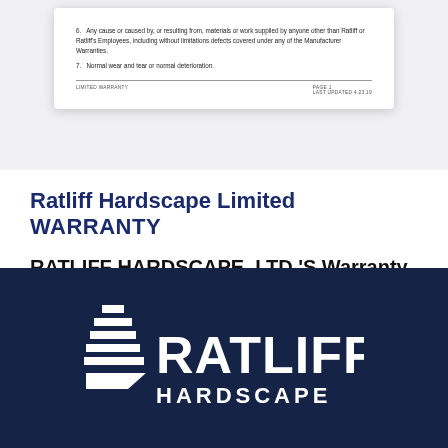[Figure (screenshot): Preview of a Limited Warranty document page showing numbered exclusion items 6 and 7, with a footer line reading 'LIMITED WARRANTY' and 'PAGE 1 / LAST UPDATED 4.23.19']
Ratliff Hardscape Limited WARRANTY
RATLIFF HARDSCAPE, LTD.'S Warranty obligations
[Figure (logo): Ratliff Hardscape logo on dark navy background — stylized stacked horizontal lines forming a chevron/arrow shape to the left of the text 'RATLIFF HARDSCAPE']